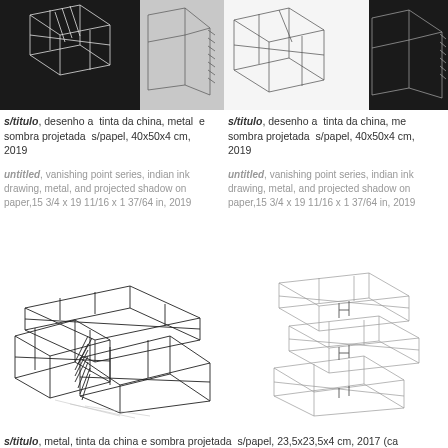[Figure (illustration): Top-left artwork: isometric wire-frame line drawing on black background with a lighter section on the right showing metal and shadow projection]
[Figure (illustration): Top-right artwork: isometric wire-frame line drawing on white/light background with a dark section on the right showing metal and shadow projection]
s/titulo, desenho a tinta da china, metal e sombra projetada s/papel, 40x50x4 cm, 2019
s/titulo, desenho a tinta da china, metal e sombra projetada s/papel, 40x50x4 cm, 2019
untitled, vanishing point series, indian ink drawing, metal, and projected shadow on paper,15 3/4 x 19 11/16 x 1 37/64 in, 2019
untitled, vanishing point series, indian ink drawing, metal, and projected shadow on paper,15 3/4 x 19 11/16 x 1 37/64 in, 2019
[Figure (illustration): Bottom-left: wire-frame metal sculpture drawing showing interlocking rectangular box forms in black ink, 3D isometric perspective]
[Figure (illustration): Bottom-right: wire-frame sculpture drawing showing stacked rectangular box forms in light gray/outline style, 3D perspective]
s/titulo, metal, tinta da china e sombra projetada s/papel, 23,5x23,5x4 cm, 2017 (ca...